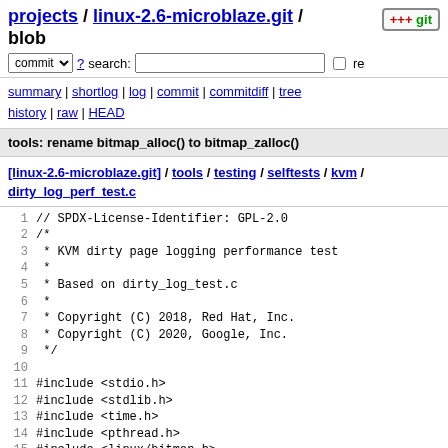projects / linux-2.6-microblaze.git / blob
commit ? search: re
summary | shortlog | log | commit | commitdiff | tree history | raw | HEAD
tools: rename bitmap_alloc() to bitmap_zalloc()
[linux-2.6-microblaze.git] / tools / testing / selftests / kvm / dirty_log_perf_test.c
1 // SPDX-License-Identifier: GPL-2.0
2 /*
3  * KVM dirty page logging performance test
4  *
5  * Based on dirty_log_test.c
6  *
7  * Copyright (C) 2018, Red Hat, Inc.
8  * Copyright (C) 2020, Google, Inc.
9  */
10
11 #include <stdio.h>
12 #include <stdlib.h>
13 #include <time.h>
14 #include <pthread.h>
15 #include <linux/bitmap.h>
16
17 #include "kvm_util.h"
18 #include "test_util.h"